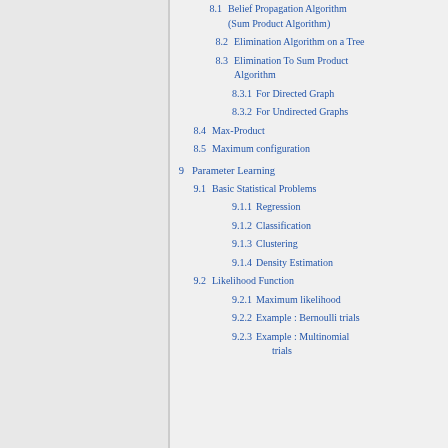8.1  Belief Propagation Algorithm (Sum Product Algorithm)
8.2  Elimination Algorithm on a Tree
8.3  Elimination To Sum Product Algorithm
8.3.1  For Directed Graph
8.3.2  For Undirected Graphs
8.4  Max-Product
8.5  Maximum configuration
9  Parameter Learning
9.1  Basic Statistical Problems
9.1.1  Regression
9.1.2  Classification
9.1.3  Clustering
9.1.4  Density Estimation
9.2  Likelihood Function
9.2.1  Maximum likelihood
9.2.2  Example : Bernoulli trials
9.2.3  Example : Multinomial trials